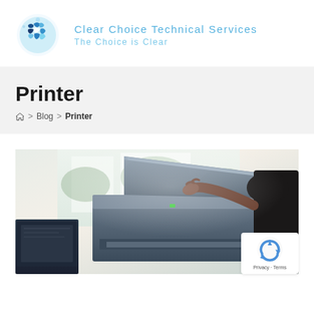[Figure (logo): Clear Choice Technical Services logo: a blue puzzle-piece globe on the left, with text 'Clear Choice Technical Services' and 'The Choice is Clear' on the right in light blue]
Printer
Home > Blog > Printer
[Figure (photo): A person opening the lid of a multifunction printer/copier machine, with a laptop monitor visible in the foreground and bright window light in the background]